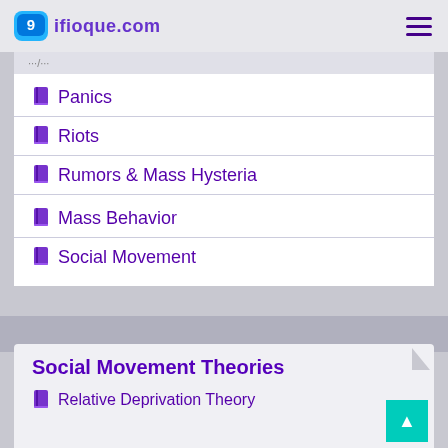9ifioque.com
Panics
Riots
Rumors & Mass Hysteria
Mass Behavior
Social Movement
Social Movement Theories
Relative Deprivation Theory